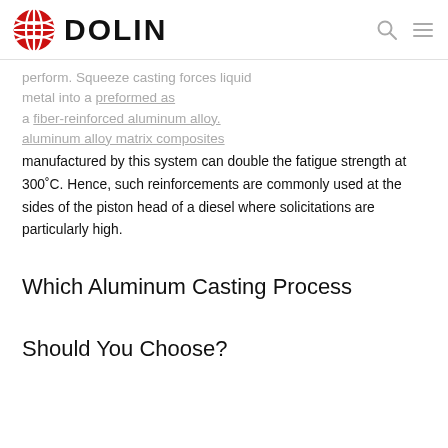DOLIN
perform. Squeeze casting forces liquid metal into a preformed as a fiber-reinforced aluminum alloy. aluminum alloy matrix composites manufactured by this system can double the fatigue strength at 300˚C. Hence, such reinforcements are commonly used at the sides of the piston head of a diesel where solicitations are particularly high.
Which Aluminum Casting Process Should You Choose?